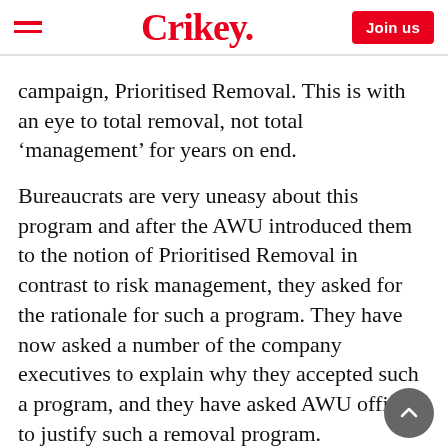Crikey. | Join us
p g g
campaign, Prioritised Removal. This is with an eye to total removal, not total ‘management’ for years on end.
Bureaucrats are very uneasy about this program and after the AWU introduced them to the notion of Prioritised Removal in contrast to risk management, they asked for the rationale for such a program. They have now asked a number of the company executives to explain why they accepted such a program, and they have asked AWU officials to justify such a removal program.
There are many terribly asbestos-sick people in